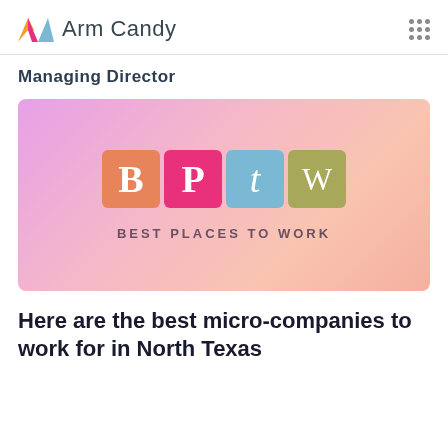Arm Candy
Managing Director
[Figure (logo): Best Places to Work (BPtW) logo on a pink-to-peach gradient background, with four colored square tiles containing the letters B, P, t, W, and the text BEST PLACES TO WORK below]
Here are the best micro-companies to work for in North Texas